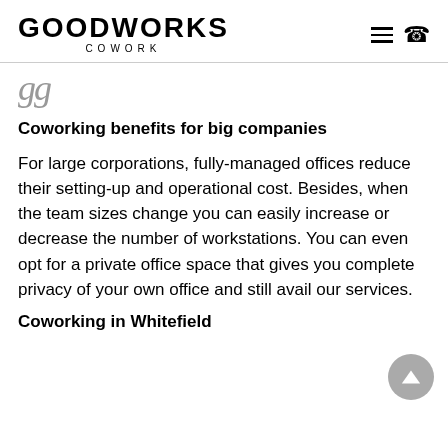GOODWORKS COWORK
gg
Coworking benefits for big companies
For large corporations, fully-managed offices reduce their setting-up and operational cost. Besides, when the team sizes change you can easily increase or decrease the number of workstations. You can even opt for a private office space that gives you complete privacy of your own office and still avail our services.
Coworking in Whitefield